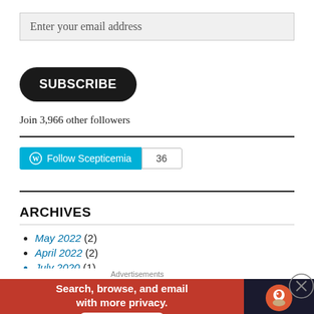Enter your email address
SUBSCRIBE
Join 3,966 other followers
[Figure (other): WordPress Follow Scepticemia button with count 36]
ARCHIVES
May 2022 (2)
April 2022 (2)
July 2020 (1)
[Figure (other): DuckDuckGo advertisement banner: Search, browse, and email with more privacy. All in One Free App.]